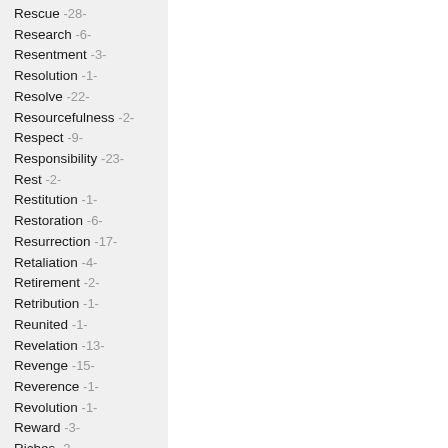Rescue -28-
Research -6-
Resentment -3-
Resolution -1-
Resolve -22-
Resourcefulness -2-
Respect -9-
Responsibility -23-
Rest -2-
Restitution -1-
Restoration -6-
Resurrection -17-
Retaliation -4-
Retirement -2-
Retribution -1-
Reunited -1-
Revelation -13-
Revenge -15-
Reverence -1-
Revolution -1-
Reward -3-
Riches -2-
Ridicule -9-
Right vs Wrong -3-
Righteous -1-
Righteousness -5-
Rights -1-
Risk -42-